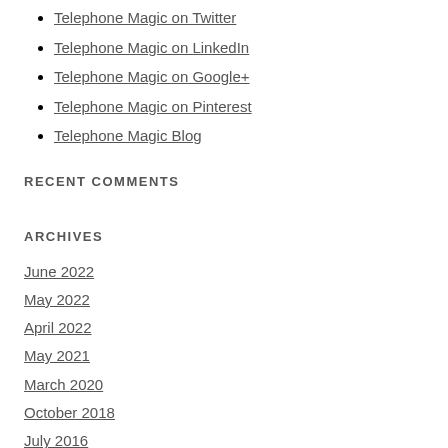Telephone Magic on Twitter
Telephone Magic on LinkedIn
Telephone Magic on Google+
Telephone Magic on Pinterest
Telephone Magic Blog
RECENT COMMENTS
ARCHIVES
June 2022
May 2022
April 2022
May 2021
March 2020
October 2018
July 2016